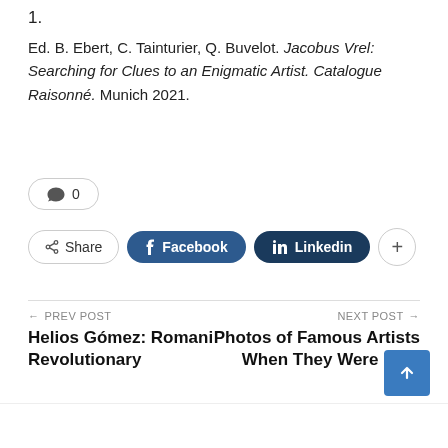1.
Ed. B. Ebert, C. Tainturier, Q. Buvelot. Jacobus Vrel: Searching for Clues to an Enigmatic Artist. Catalogue Raisonné. Munich 2021.
💬 0
Share  Facebook  Linkedin  +
← PREV POST   Helios Gómez: Romani Revolutionary
NEXT POST →   Photos of Famous Artists When They Were Kids